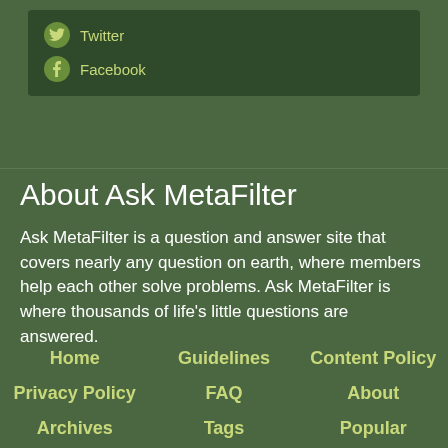Twitter
Facebook
About Ask MetaFilter
Ask MetaFilter is a question and answer site that covers nearly any question on earth, where members help each other solve problems. Ask MetaFilter is where thousands of life's little questions are answered.
Home
Guidelines
Content Policy
Privacy Policy
FAQ
About
Archives
Tags
Popular